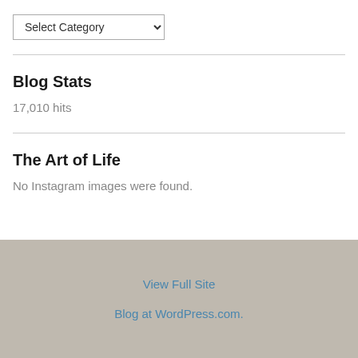Select Category
Blog Stats
17,010 hits
The Art of Life
No Instagram images were found.
View Full Site
Blog at WordPress.com.